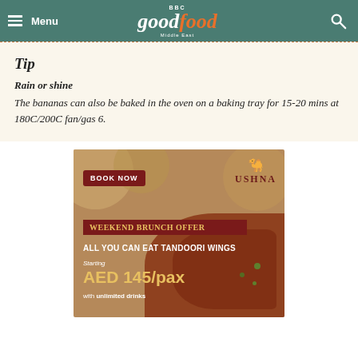Menu | BBC Good Food Middle East | Search
Tip
Rain or shine
The bananas can also be baked in the oven on a baking tray for 15-20 mins at 180C/200C fan/gas 6.
[Figure (infographic): USHNA restaurant advertisement for Weekend Brunch Offer: All You Can Eat Tandoori Wings starting AED 145/pax with unlimited drinks. Features a BOOK NOW button, the Ushna logo with camel, and food imagery on a warm brown background.]